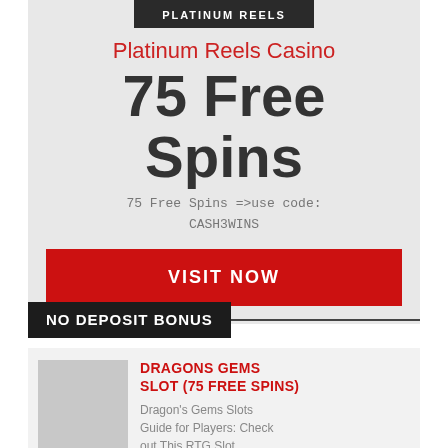[Figure (logo): Platinum Reels logo bar with dark background and white text]
Platinum Reels Casino
75 Free Spins
75 Free Spins =>use code: CASH3WINS
VISIT NOW
NO DEPOSIT BONUS
DRAGONS GEMS SLOT (75 FREE SPINS)
Dragon's Gems Slots Guide for Players: Check out This RTG Slot Dragon's Gems Slot is a